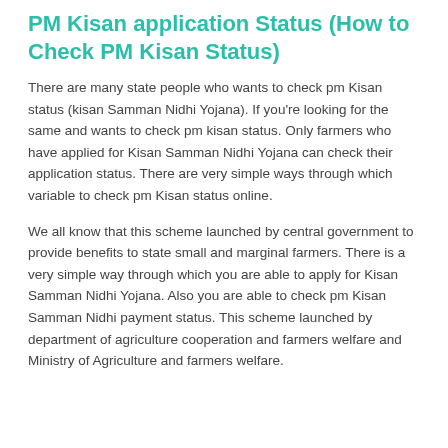PM Kisan application Status (How to Check PM Kisan Status)
There are many state people who wants to check pm Kisan status (kisan Samman Nidhi Yojana). If you're looking for the same and wants to check pm kisan status. Only farmers who have applied for Kisan Samman Nidhi Yojana can check their application status. There are very simple ways through which variable to check pm Kisan status online.
We all know that this scheme launched by central government to provide benefits to state small and marginal farmers. There is a very simple way through which you are able to apply for Kisan Samman Nidhi Yojana. Also you are able to check pm Kisan Samman Nidhi payment status. This scheme launched by department of agriculture cooperation and farmers welfare and Ministry of Agriculture and farmers welfare.